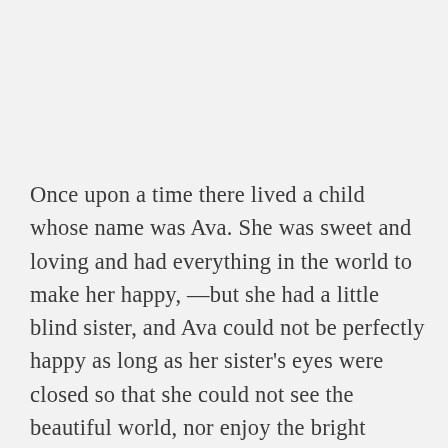Once upon a time there lived a child whose name was Ava. She was sweet and loving and had everything in the world to make her happy, —but she had a little blind sister, and Ava could not be perfectly happy as long as her sister's eyes were closed so that she could not see the beautiful world, nor enjoy the bright sunshine. Little Ava kept wondering if there was not something that she could do which would open her little sister's eyes.